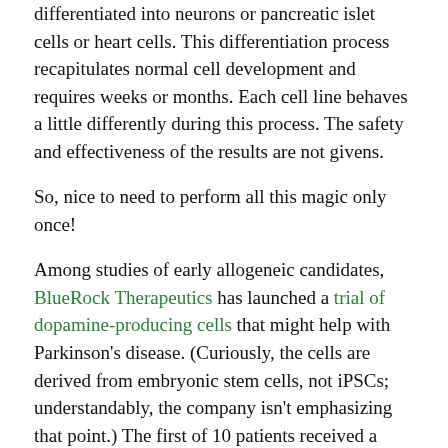differentiated into neurons or pancreatic islet cells or heart cells. This differentiation process recapitulates normal cell development and requires weeks or months. Each cell line behaves a little differently during this process. The safety and effectiveness of the results are not givens.
So, nice to need to perform all this magic only once!
Among studies of early allogeneic candidates, BlueRock Therapeutics has launched a trial of dopamine-producing cells that might help with Parkinson's disease. (Curiously, the cells are derived from embryonic stem cells, not iPSCs; understandably, the company isn't emphasizing that point.) The first of 10 patients received a transplant in June in surgery at Memorial Sloan Kettering.
Notably, the subjects in the BlueRock study will be given drugs to partly suppress the immune reaction.
This downside is one reason Ole Isacson of McLean